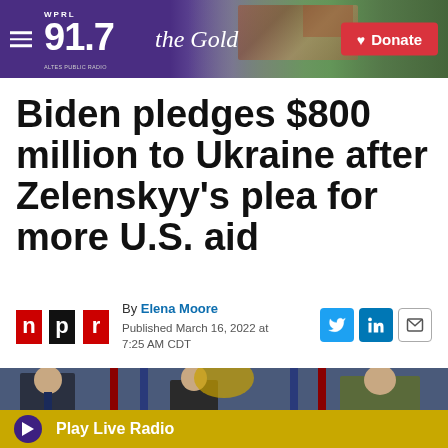[Figure (screenshot): WPRL 91.7 The Gold public radio station header bar with purple background, hamburger menu, logo, and red Donate button]
Biden pledges $800 million to Ukraine after Zelenskyy's plea for more U.S. aid
By Elena Moore
Published March 16, 2022 at 7:25 AM CDT
[Figure (photo): Press conference photo with officials including Secretary of State Antony Blinken and General Mark Milley at podium with American flags and seal]
Play Live Radio